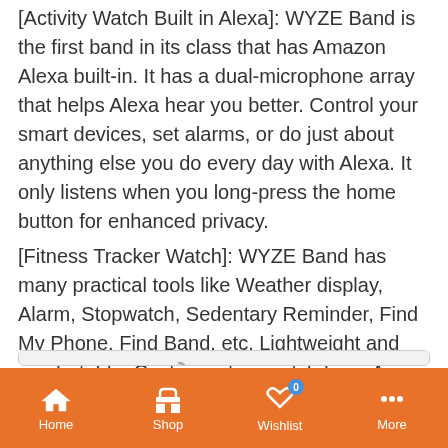[Activity Watch Built in Alexa]: WYZE Band is the first band in its class that has Amazon Alexa built-in. It has a dual-microphone array that helps Alexa hear you better. Control your smart devices, set alarms, or do just about anything else you do every day with Alexa. It only listens when you long-press the home button for enhanced privacy.
[Fitness Tracker Watch]: WYZE Band has many practical tools like Weather display, Alarm, Stopwatch, Sedentary Reminder, Find My Phone, Find Band, etc. Lightweight and comfortable. Customization watch face. A very good gift for your friends and family members to keep health.
[Figure (screenshot): Updating spinner row, United States country selection row with radio button and flag, Updating spinner row, with scroll-up arrow button on the right]
Home   Shop   Wishlist 0   More